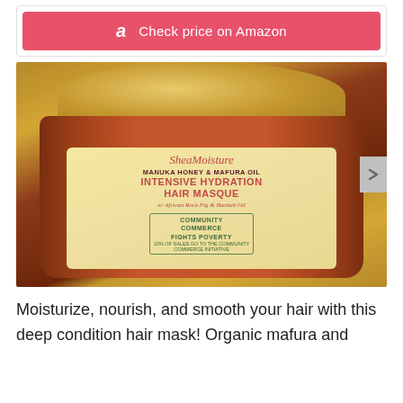[Figure (other): Amazon 'Check price on Amazon' button with Amazon logo on coral/pink background]
[Figure (photo): Photo of SheaMoisture Manuka Honey & Mafura Oil Intensive Hydration Hair Masque jar with gold lid and cream-colored label, 12 oz / 340g]
Moisturize, nourish, and smooth your hair with this deep condition hair mask! Organic mafura and